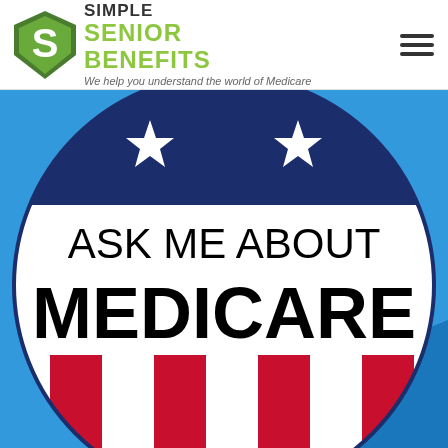[Figure (logo): Simple Senior Benefits logo with green SB shield icon and green/black text reading SIMPLE SENIOR BENEFITS with tagline 'We help you understand the world of Medicare']
[Figure (illustration): A large circular badge/button styled like an American flag with a blue top section with white stars, a white middle section with text 'ASK ME ABOUT MEDICARE', and a bottom section with red and white vertical stripes. The badge sits on a bright blue background with a diagonal blue stripe at the bottom right.]